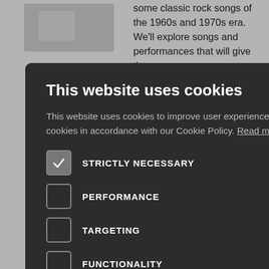some classic rock songs of the 1960s and 1970s era. We'll explore songs and performances that will give them a
[Figure (screenshot): Cookie consent modal dialog on a dark background (#2c2c2c). Title: 'This website uses cookies'. Body text about cookies and consent. Checkboxes for STRICTLY NECESSARY (checked), PERFORMANCE, TARGETING, FUNCTIONALITY, UNCLASSIFIED. Buttons: ACCEPT ALL (green), DECLINE ALL (outlined). SHOW DETAILS link with gear icon. Close X in top right.]
This website uses cookies
This website uses cookies to improve user experience. By using our website you consent to all cookies in accordance with our Cookie Policy. Read more
STRICTLY NECESSARY
PERFORMANCE
TARGETING
FUNCTIONALITY
UNCLASSIFIED
ACCEPT ALL
DECLINE ALL
SHOW DETAILS